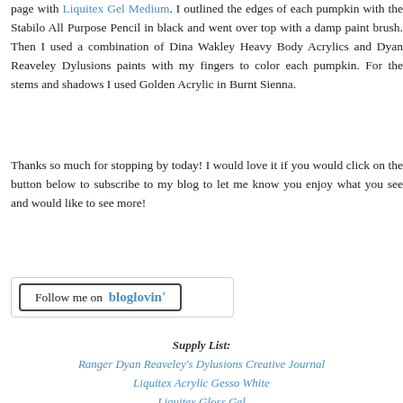page with Liquitex Gel Medium. I outlined the edges of each pumpkin with the Stabilo All Purpose Pencil in black and went over top with a damp paint brush. Then I used a combination of Dina Wakley Heavy Body Acrylics and Dyan Reaveley Dylusions paints with my fingers to color each pumpkin. For the stems and shadows I used Golden Acrylic in Burnt Sienna.
Thanks so much for stopping by today! I would love it if you would click on the button below to subscribe to my blog to let me know you enjoy what you see and would like to see more!
[Figure (other): Follow me on bloglovin' button/badge]
Supply List:
Ranger Dyan Reaveley's Dylusions Creative Journal
Liquitex Acrylic Gesso White
Liquitex Gloss Gel
Bo Bunny Fall Friends 6x6 Paper Pad
Ranger Dyan Reaveley Dylusions Paints (Squeezed Orange, Vibrant Turquoise, Fresh Lime)